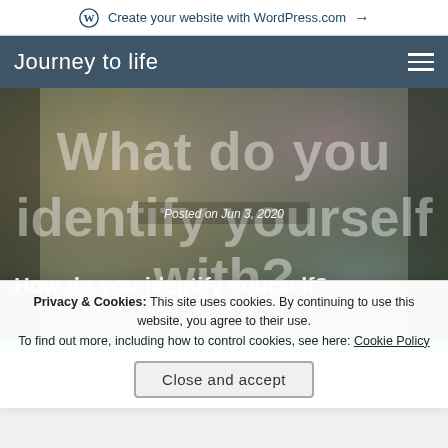Create your website with WordPress.com →
Journey to life
[Figure (photo): Blog post hero image with text overlay reading 'What do you identify yourself with?' in large white/translucent letters on a colorful textured background. A 'Posted on Jun 3, 2020' caption appears over the image. Subtitle: 'How do you identify yourself?']
Privacy & Cookies: This site uses cookies. By continuing to use this website, you agree to their use.
To find out more, including how to control cookies, see here: Cookie Policy
Close and accept